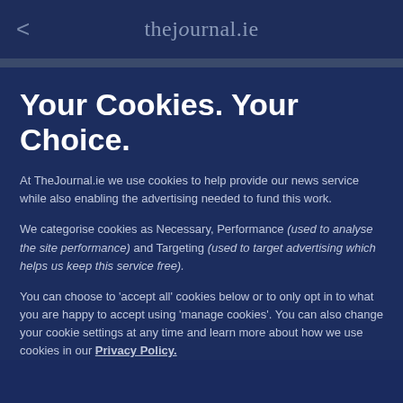< thejournal.ie
Your Cookies. Your Choice.
At TheJournal.ie we use cookies to help provide our news service while also enabling the advertising needed to fund this work.
We categorise cookies as Necessary, Performance (used to analyse the site performance) and Targeting (used to target advertising which helps us keep this service free).
You can choose to 'accept all' cookies below or to only opt in to what you are happy to accept using 'manage cookies'. You can also change your cookie settings at any time and learn more about how we use cookies in our Privacy Policy.